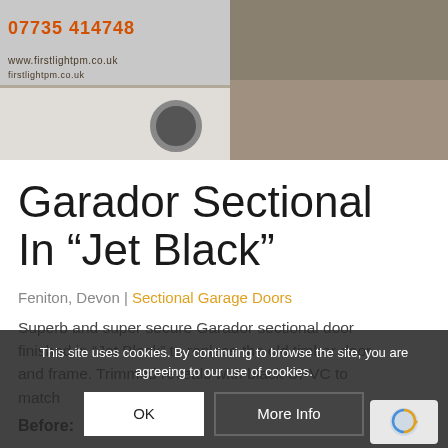[Figure (photo): A white van with orange phone number 07735 414748 and website text visible, parked on a street. Right side shows a dark tarmac/pavement area.]
Garador Sectional In “Jet Black”
Feniton, Devon | Sectional Garage Doors
Superb and super secure Garador sectional door finished in “Jet Black” to replace the old timber door and frame. Trimmed reveals with black UPVC to match
Before:
This site uses cookies. By continuing to browse the site, you are agreeing to our use of cookies.